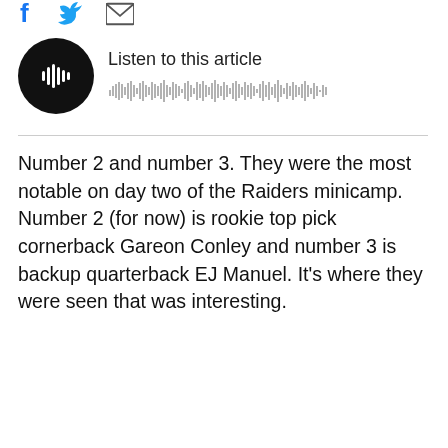[Figure (other): Social media share icons: Facebook, Twitter, email/envelope]
[Figure (other): Audio player widget with black circular play button showing waveform icon, text 'Listen to this article', and an audio waveform visualization below]
Number 2 and number 3. They were the most notable on day two of the Raiders minicamp. Number 2 (for now) is rookie top pick cornerback Gareon Conley and number 3 is backup quarterback EJ Manuel. It's where they were seen that was interesting.